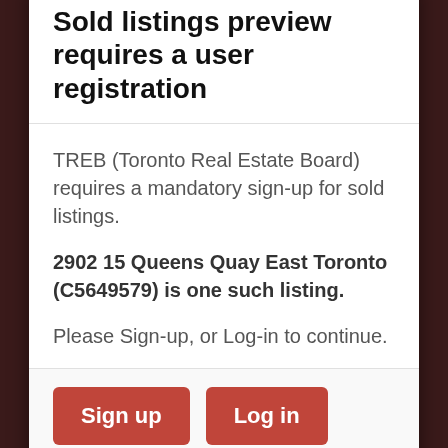Sold listings preview requires a user registration
TREB (Toronto Real Estate Board) requires a mandatory sign-up for sold listings.
2902 15 Queens Quay East Toronto (C5649579) is one such listing.
Please Sign-up, or Log-in to continue.
Sign up
Log in